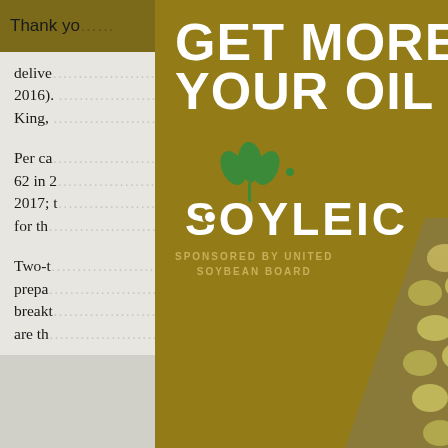Thank yo… ools you
delive… 2016). … King, … ice.
Per ca… from 62 in 2… ne 2017; t… sible for the…
Two-t… ouy. prepa… breakt… are th…
[Figure (advertisement): Advertisement overlay: gold/olive background with large white bold text reading 'GET MORE FROM YOUR OIL WITH', Soyleic logo (green plant/leaf icon above the word SOYLEIC in white), sponsored by United Soybean Board text at bottom left, and a photo of soybeans in the lower right. A close button (X) is in the top right corner of the modal.]
[Figure (other): Back to top button: dark navy blue square with upward chevron arrow and 'Top' text in white.]